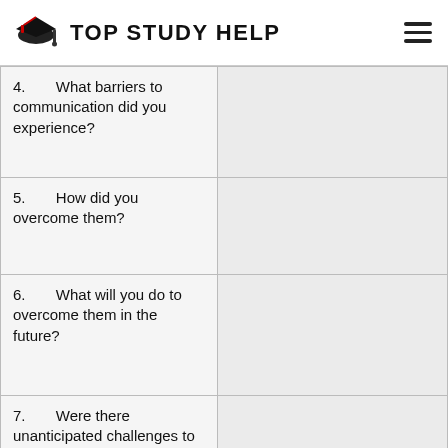TOP STUDY HELP
| Question | Answer |
| --- | --- |
| 4.      What barriers to communication did you experience? |  |
| 5.      How did you overcome them? |  |
| 6.      What will you do to overcome them in the future? |  |
| 7.      Were there unanticipated challenges to the interview? |  |